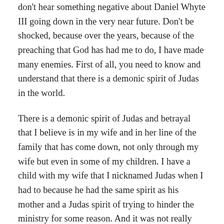don't hear something negative about Daniel Whyte III going down in the very near future. Don't be shocked, because over the years, because of the preaching that God has had me to do, I have made many enemies. First of all, you need to know and understand that there is a demonic spirit of Judas in the world.
There is a demonic spirit of Judas and betrayal that I believe is in my wife and in her line of the family that has come down, not only through my wife but even in some of my children. I have a child with my wife that I nicknamed Judas when I had to because he had the same spirit as his mother and a Judas spirit of trying to hinder the ministry for some reason. And it was not really her or him because we don't wrestle against flesh and blood. We were able to stay together as a couple and as a family because I never saw it as them doing it.